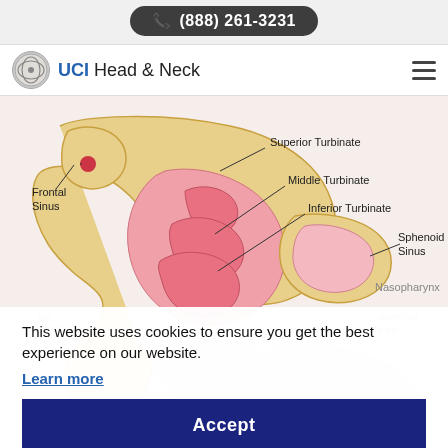(888) 261-3231
UCI Head & Neck
[Figure (illustration): Cross-sectional anatomical diagram of the nasal cavity and sinuses, labeled with: Superior Turbinate, Middle Turbinate, Inferior Turbinate, Frontal Sinus, Sphenoid Sinus, Nasopharynx, Nasal Vestibule, Nasal, Eustachian Tube Orifice, Adenoid Pad, Fossa of Rosenmuller]
This website uses cookies to ensure you get the best experience on our website.
Learn more
Accept